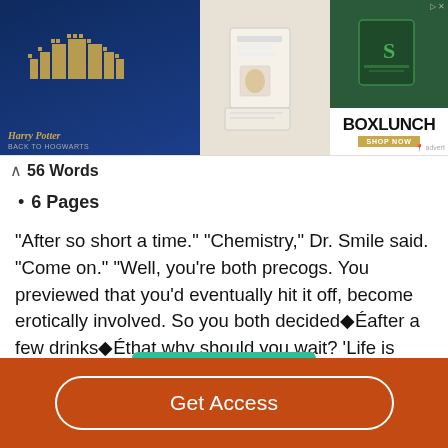[Figure (screenshot): Harry Potter themed advertisement banner for BoxLunch with castle illustration on left, folded paper goods in center, and green Slytherin merchandise on right. BoxLunch logo and 'Shop Now' button visible on far right.]
56 Words
6 Pages
"After so short a time." "Chemistry," Dr. Smile said. "Come on." "Well, you're both precogs. You previewed that you'd eventually hit it off, become erotically involved. So you both decided◆Éafter a few drinks◆Éthat why should you wait? 'Life is short, art is◆É" The suitcase ceased speaking, because Roni Fugate had appeared from the bathroom, naked, to pad past it and Barney back…
Read More
Get Access